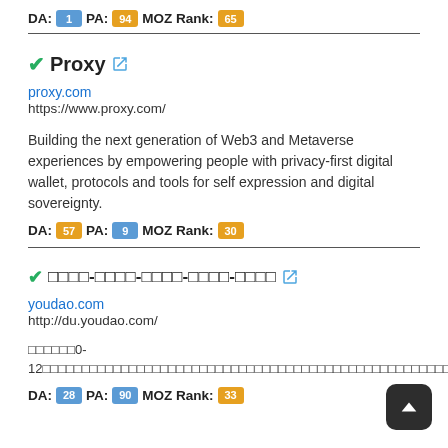DA: 1 PA: 94 MOZ Rank: 65
✓Proxy 🔗
proxy.com
https://www.proxy.com/
Building the next generation of Web3 and Metaverse experiences by empowering people with privacy-first digital wallet, protocols and tools for self expression and digital sovereignty.
DA: 57 PA: 9 MOZ Rank: 30
✓□□□□-□□□□-□□□□-□□□□-□□□□ 🔗
youdao.com
http://du.youdao.com/
□□□□□□0-12□□□□□□□□□□□□□□□□□□□□□□□□□□□□□□□□□□□□□□□□□□□□□□□□□□□□□□□□□□□□□□□□□□□□□□□□□□□□□□□□□□□□□□□□□□□□□□□□□□□□□□□□□□□□□□□□□□□□□□□□□□□□□□□□
DA: 28 PA: 90 MOZ Rank: 33